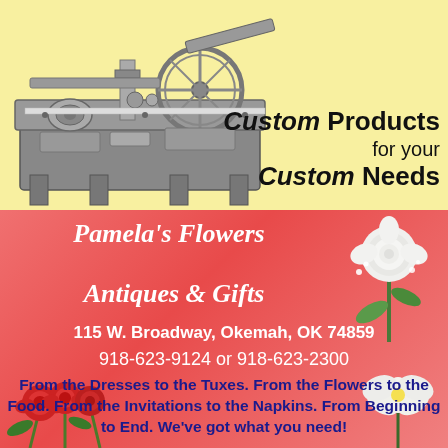[Figure (illustration): Yellow background advertisement with vintage printing press machine illustration on the left, with text 'Custom Products for your Custom Needs' on the right.]
[Figure (photo): Pink/coral background advertisement for Pamela's Flowers Antiques & Gifts with white rose boutonniere photo top right, red roses bottom left, and white flower bottom right.]
Custom Products for your Custom Needs
Pamela's Flowers Antiques & Gifts
115 W. Broadway, Okemah, OK 74859
918-623-9124 or 918-623-2300
From the Dresses to the Tuxes. From the Flowers to the Food. From the Invitations to the Napkins. From Beginning to End. We've got what you need!